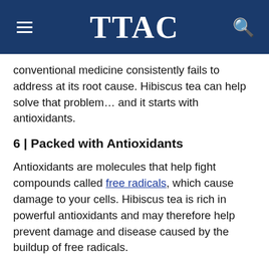TTAC
conventional medicine consistently fails to address at its root cause. Hibiscus tea can help solve that problem… and it starts with antioxidants.
6 | Packed with Antioxidants
Antioxidants are molecules that help fight compounds called free radicals, which cause damage to your cells. Hibiscus tea is rich in powerful antioxidants and may therefore help prevent damage and disease caused by the buildup of free radicals.
In one study in rats, hibiscus extract increased the number of antioxidant enzymes and reduced the harmful effects of free radicals by up to 92%.